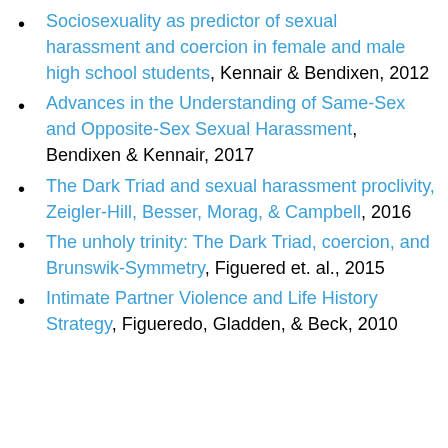Sociosexuality as predictor of sexual harassment and coercion in female and male high school students, Kennair & Bendixen, 2012
Advances in the Understanding of Same-Sex and Opposite-Sex Sexual Harassment, Bendixen & Kennair, 2017
The Dark Triad and sexual harassment proclivity, Zeigler-Hill, Besser, Morag, & Campbell, 2016
The unholy trinity: The Dark Triad, coercion, and Brunswik-Symmetry, Figuered et. al., 2015
Intimate Partner Violence and Life History Strategy, Figueredo, Gladden, & Beck, 2010